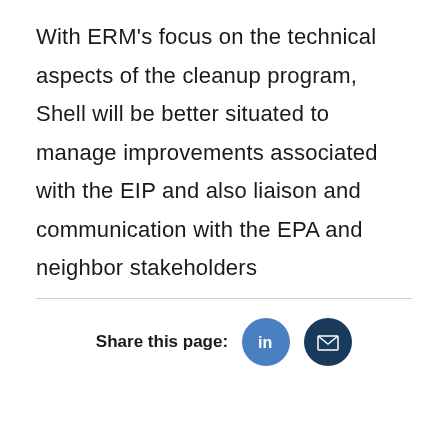With ERM's focus on the technical aspects of the cleanup program, Shell will be better situated to manage improvements associated with the EIP and also liaison and communication with the EPA and neighbor stakeholders
Share this page: [LinkedIn] [Email]